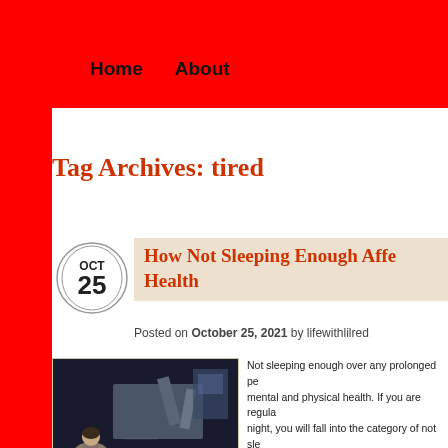Home   About
Tag Archives: tired
How Not Sleeping Enough Affects Your Health
Posted on October 25, 2021 by lifewithlilred
[Figure (illustration): Person sitting on floor in dark room with geometric shapes/blocks around them, stylized illustration]
Not sleeping enough over any prolonged period can affect your mental and physical health. If you are regularly sleeping under 7 hours a night, you will fall into the category of not sleeping enough. You may have started to notice some symptoms of lack of sleep and its terrible consequences. Either way, if you, do not sleep enough, you really do need to get more of it, and here are a few reasons why.
Your Immune System: